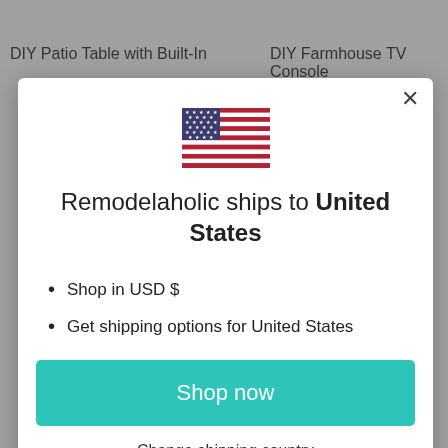DIY Patio Table with Built-In
DIY Farmhouse TV Console
[Figure (illustration): US flag icon displayed in modal dialog]
Remodelaholic ships to United States
Shop in USD $
Get shipping options for United States
Shop now
Change shipping country
DIY House Bed F...